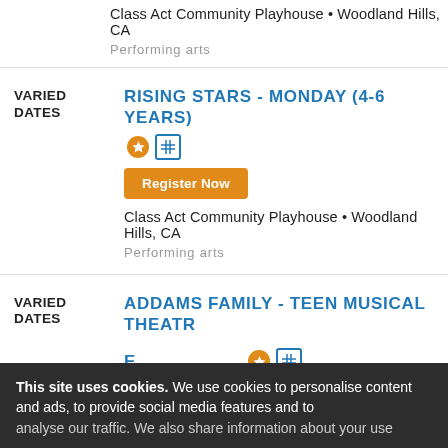Class Act Community Playhouse • Woodland Hills, CA
Performing arts
VARIED DATES
RISING STARS - MONDAY (4-6 YEARS)
Register Now
Class Act Community Playhouse • Woodland Hills, CA
Performing arts
VARIED DATES
ADDAMS FAMILY - TEEN MUSICAL THEATRE (TUESDAY)
Register Now
Class Act Community Playhouse • Woodland Hills, CA
Performing arts
This site uses cookies. We use cookies to personalise content and ads, to provide social media features and to analyse our traffic. We also share information about your use